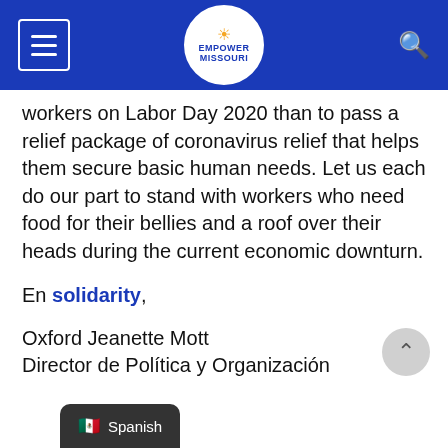Empower Missouri — navigation bar with hamburger menu, logo, and search icon
workers on Labor Day 2020 than to pass a relief package of coronavirus relief that helps them secure basic human needs. Let us each do our part to stand with workers who need food for their bellies and a roof over their heads during the current economic downturn.
En solidarity,
Oxford Jeanette Mott
Director de Política y Organización